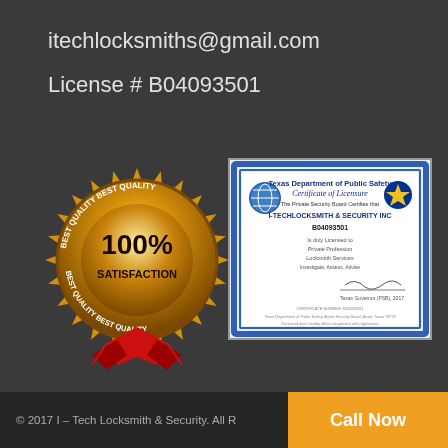itechlocksmiths@gmail.com
License # B04093501
[Figure (illustration): Gold circular badge with text 'BEST QUALITY' around the rim and '100% SATISFACTION' in the center, with red ribbon at the bottom.]
[Figure (photo): Texas Department of Public Safety Certificate of Licensure for I-TECHLOCKSMITH & SECURITY INC, license number B04093501.]
© 2017 I – Tech Locksmith & Security. All R
Call Now